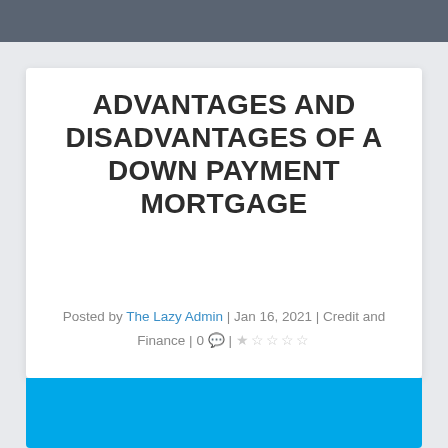ADVANTAGES AND DISADVANTAGES OF A DOWN PAYMENT MORTGAGE
Posted by The Lazy Admin | Jan 16, 2021 | Credit and Finance | 0 💬 | ☆☆☆☆☆